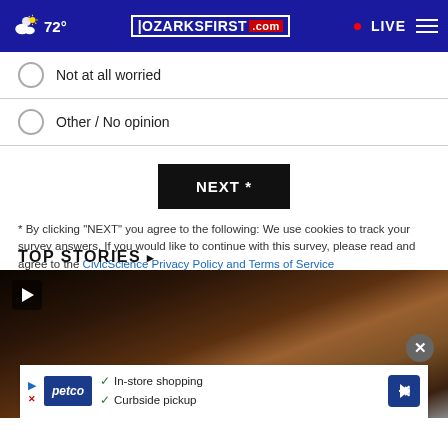72° | OZARKSFIRST.com | LIVE
Not at all worried
Other / No opinion
NEXT *
* By clicking "NEXT" you agree to the following: We use cookies to track your survey answers. If you would like to continue with this survey, please read and agree to the CivicScience Privacy Policy and Terms of Service
TOP STORIES ›
[Figure (photo): Video thumbnail showing a man's face in dark lighting with a play button overlay]
[Figure (infographic): Petco advertisement banner: In-store shopping, Curbside pickup]